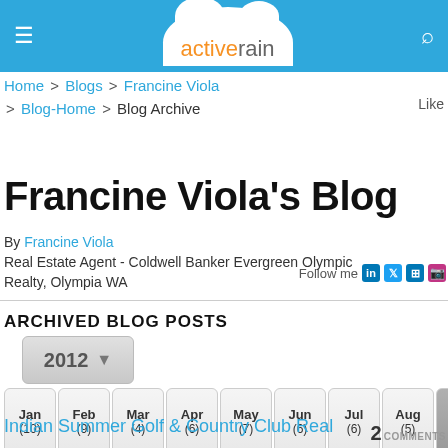activerain
Home > Blogs > Francine Viola > Blog-Home > Blog Archive
Francine Viola's Blog
By Francine Viola
Real Estate Agent - Coldwell Banker Evergreen Olympic Realty, Olympia WA
Follow me
ARCHIVED BLOG POSTS
2012
Jan (10) Feb (9) Mar (4) Apr (6) May (7) Jun (6) Jul (6) Aug (5) Sep (5) Oct (6) Nov (5) Dec (4)
Indian Summer Golf & Country Club Real Estate Market Update...
2 COMMENTS